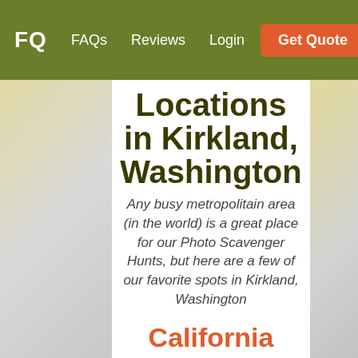FQ  FAQs  Reviews  Login  Get Quote
Locations in Kirkland, Washington
Any busy metropolitain area (in the world) is a great place for our Photo Scavenger Hunts, but here are a few of our favorite spots in Kirkland, Washington
California